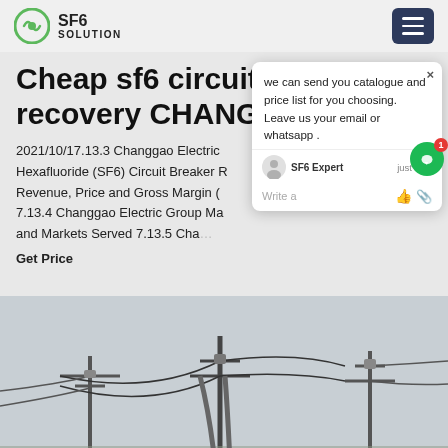SF6 SOLUTION
Cheap sf6 circuit breaker recovery CHANGGAO
2021/10/17.13.3 Changgao Electric … Hexafluoride (SF6) Circuit Breaker Revenue, Price and Gross Margin … 7.13.4 Changgao Electric Group Ma… and Markets Served 7.13.5 Cha…
Get Price
[Figure (screenshot): Chat popup overlay with message: we can send you catalogue and price list for you choosing. Leave us your email or whatsapp. SF6 Expert - just now. Write a message area with thumb and paperclip icons.]
[Figure (photo): Photograph of electrical power transmission infrastructure showing overhead cables, insulators, and towers against a light sky.]